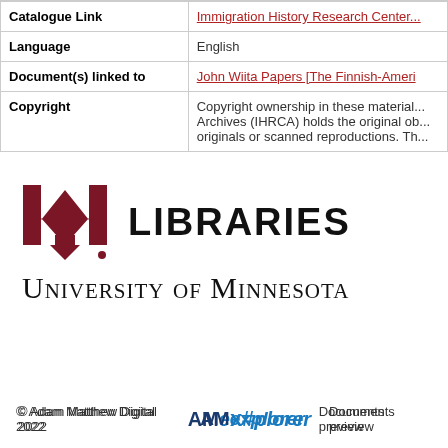| Field | Value |
| --- | --- |
| Catalogue Link | Immigration History Research Center... |
| Language | English |
| Document(s) linked to | John Wiita Papers [The Finnish-Ameri... |
| Copyright | Copyright ownership in these material... Archives (IHRCA) holds the original ob... originals or scanned reproductions. Th... |
[Figure (logo): University of Minnesota Libraries logo — M mark in dark red with 'LIBRARIES' in bold black and 'University of Minnesota' in small-caps serif below]
© Adam Matthew Digital 2022   AM explorer   Documents preview